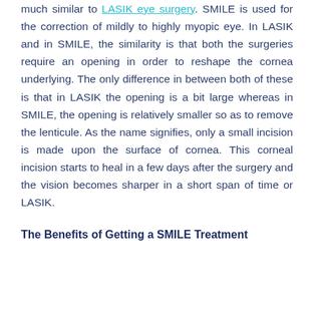much similar to LASIK eye surgery. SMILE is used for the correction of mildly to highly myopic eye. In LASIK and in SMILE, the similarity is that both the surgeries require an opening in order to reshape the cornea underlying. The only difference in between both of these is that in LASIK the opening is a bit large whereas in SMILE, the opening is relatively smaller so as to remove the lenticule. As the name signifies, only a small incision is made upon the surface of cornea. This corneal incision starts to heal in a few days after the surgery and the vision becomes sharper in a short span of time or LASIK.
The Benefits of Getting a SMILE Treatment